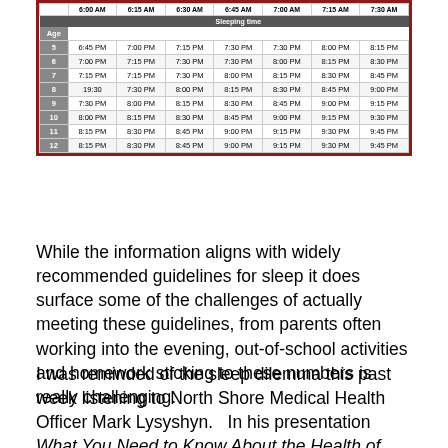| Age | 6:00 AM | 6:15 AM | 6:30 AM | 6:45 AM | 7:00 AM | 7:15 AM | 7:30 AM |
| --- | --- | --- | --- | --- | --- | --- | --- |
| 5 | 6:45 PM | 7:00 PM | 7:15 PM | 7:30 PM | 7:30 PM | 8:00 PM | 8:15 PM |
| 6 | 7:00 PM | 7:15 PM | 7:30 PM | 7:30 PM | 8:00 PM | 8:15 PM | 8:30 PM |
| 7 | 7:15 PM | 7:15 PM | 7:30 PM | 8:00 PM | 8:15 PM | 8:30 PM | 8:45 PM |
| 8 | 19:30 | 7:30 PM | 8:00 PM | 8:15 PM | 8:30 PM | 8:45 PM | 9:00 PM |
| 9 | 7:30 PM | 8:00 PM | 8:15 PM | 8:30 PM | 8:45 PM | 9:00 PM | 9:15 PM |
| 10 | 8:00 PM | 8:15 PM | 8:30 PM | 8:45 PM | 9:00 PM | 9:15 PM | 9:30 PM |
| 11 | 8:15 PM | 8:30 PM | 8:45 PM | 9:00 PM | 9:15 PM | 9:30 PM | 9:45 PM |
| 12 | 8:15 PM | 8:30 PM | 8:45 PM | 9:00 PM | 9:15 PM | 9:30 PM | 9:45 PM |
While the information aligns with widely recommended guidelines for sleep it does surface some of the challenges of actually meeting these guidelines, from parents often working into the evening, out-of-school activities and homework sticking to these numbers is really challenging.
I was reminded of the sleep dilemma this past week listening to North Shore Medical Health Officer Mark Lysyshyn.   In his presentation What You Need to Know About the Health of Students, so much of it kept coming back to sleep.  Issues like physical activity, mental health